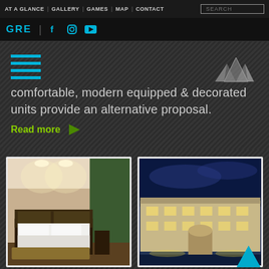AT A GLANCE | GALLERY | GAMES | MAP | CONTACT
GRE [social icons: Facebook, Instagram, YouTube] SEARCH
[Figure (screenshot): Hamburger menu icon (cyan lines) top left, silver mountain/crystal logo top right, on diagonal striped dark background]
comfortable, modern equipped & decorated units provide an alternative proposal.
Read more ▶
[Figure (photo): Hotel bedroom interior with warm lighting, large bed with white linens, dark headboard, green curtains]
[Figure (photo): Hotel exterior at night, lit building facade with blue sky, illuminated grounds]